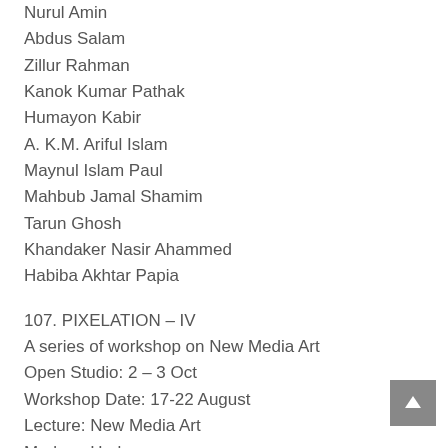Nurul Amin
Abdus Salam
Zillur Rahman
Kanok Kumar Pathak
Humayon Kabir
A. K.M. Ariful Islam
Maynul Islam Paul
Mahbub Jamal Shamim
Tarun Ghosh
Khandaker Nasir Ahammed
Habiba Akhtar Papia
107. PIXELATION – IV
A series of workshop on New Media Art
Open Studio: 2 – 3 Oct
Workshop Date: 17-22 August
Lecture: New Media Art
Marlene Harles
Participants
Amiad Akash